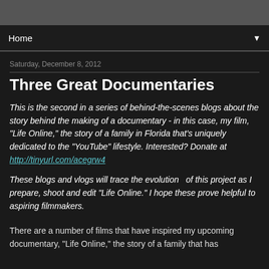Home
Saturday, December 8, 2012
Three Great Documentaries
This is the second in a series of behind-the-scenes blogs about the story behind the making of a documentary - in this case, my film, "Life Online," the story of a family in Florida that's uniquely dedicated to the "YouTube" lifestyle. Interested? Donate at http://tinyurl.com/acegrw4
These blogs and vlogs will trace the evolution  of this project as I prepare, shoot and edit "Life Online." I hope these prove helpful to aspiring filmmakers.
There are a number of films that have inspired my upcoming documentary, "Life Online," the story of a family that has